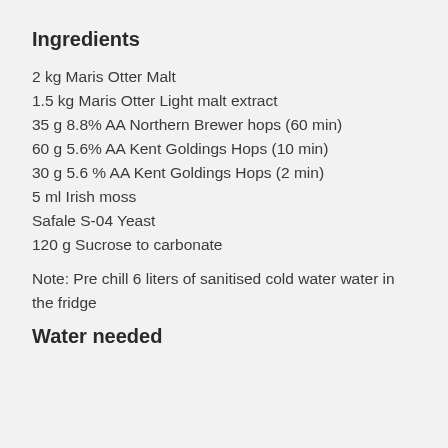Ingredients
2 kg Maris Otter Malt
1.5 kg Maris Otter Light malt extract
35 g 8.8% AA Northern Brewer hops (60 min)
60 g 5.6% AA Kent Goldings Hops (10 min)
30 g 5.6 % AA Kent Goldings Hops (2 min)
5 ml Irish moss
Safale S-04 Yeast
120 g Sucrose to carbonate
Note: Pre chill 6 liters of sanitised cold water water in the fridge
Water needed